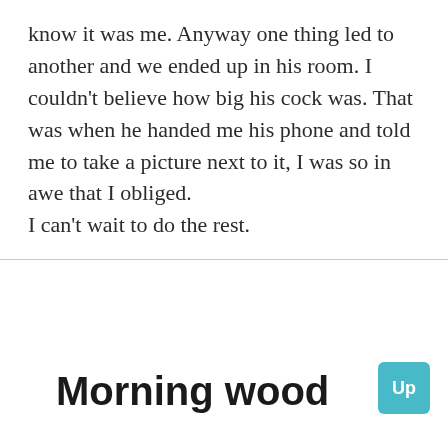know it was me. Anyway one thing led to another and we ended up in his room. I couldn't believe how big his cock was. That was when he handed me his phone and told me to take a picture next to it, I was so in awe that I obliged.
I can't wait to do the rest.
Morning wood